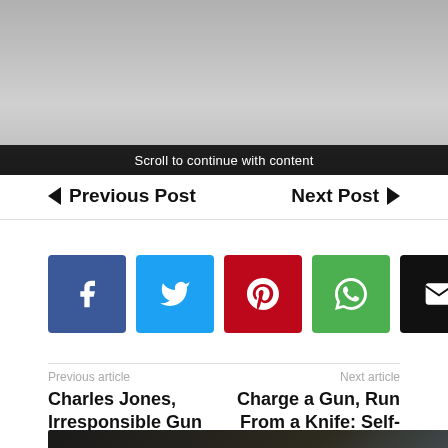[Figure (photo): Partial advertisement image showing metallic logo/badge and large text reading 'FOR SOMETHING' with a black overlay bar reading 'Scroll to continue with content']
Scroll to continue with content
◄ Previous Post    Next Post ►
[Figure (infographic): Row of social share buttons: Facebook (blue), Twitter (light blue), Pinterest (red), WhatsApp (green), Email (black)]
Previous article
Next article
Charles Jones, Irresponsible Gun Owner of the Day
Charge a Gun, Run From a Knife: Self-Defense Tip
[Figure (photo): Advertisement banner for 'Travel Guide for Gun Owners' with tagline 'Protect yourself wherever you go.' and U.S. LawShield logo]